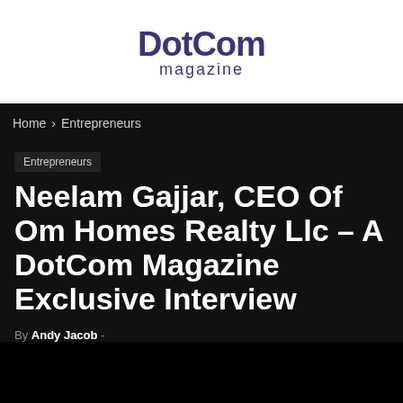[Figure (logo): DotCom Magazine logo with bold purple 'DotCom' text and smaller 'magazine' subtitle]
Home › Entrepreneurs
Entrepreneurs
Neelam Gajjar, CEO Of Om Homes Realty Llc – A DotCom Magazine Exclusive Interview
By Andy Jacob -